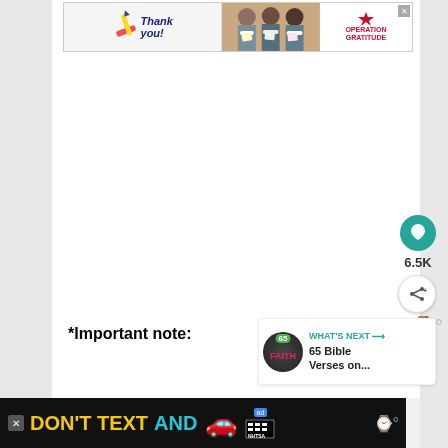[Figure (screenshot): Top banner advertisement: 'Thank you!' text with pencil graphic and US flag star pencil, photo of three masked medical workers holding thank you cards, and 'Operation Gratitude' logo with star]
[Figure (infographic): Social media UI: heart/like button (teal circle), count '6.5K', share button, and timer/watch emoji icons on the right side]
*Important note:
[Figure (screenshot): 'WHAT'S NEXT' panel with thumbnail showing '65 Bible Verses on...' with faith-themed circular thumbnail]
[Figure (screenshot): Bottom black banner ad: 'DON'T TEXT AND' with red car emoji, ad badge, and NHTSA logo]